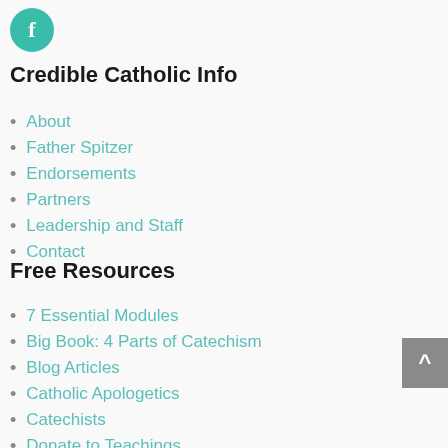[Figure (logo): Facebook icon: teal circle with white letter f]
Credible Catholic Info
About
Father Spitzer
Endorsements
Partners
Leadership and Staff
Contact
Free Resources
7 Essential Modules
Big Book: 4 Parts of Catechism
Blog Articles
Catholic Apologetics
Catechists
Donate to Teachings